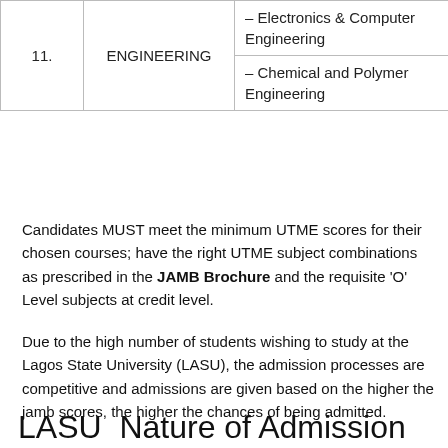|  | FACULTY/COLLEGE | COURSE | UTME CUT-OFF MARK |
| --- | --- | --- | --- |
| 11. | ENGINEERING | – Electronics & Computer Engineering | 190 |
|  |  | – Chemical and Polymer Engineering | 190 |
Candidates MUST meet the minimum UTME scores for their chosen courses; have the right UTME subject combinations as prescribed in the JAMB Brochure and the requisite 'O' Level subjects at credit level.
Due to the high number of students wishing to study at the Lagos State University (LASU), the admission processes are competitive and admissions are given based on the higher the jamb scores, the higher the chances of being admitted.
LASU  Nature of Admission